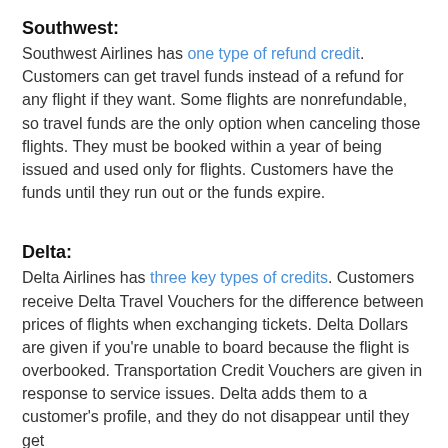Southwest:
Southwest Airlines has one type of refund credit. Customers can get travel funds instead of a refund for any flight if they want. Some flights are nonrefundable, so travel funds are the only option when canceling those flights. They must be booked within a year of being issued and used only for flights. Customers have the funds until they run out or the funds expire.
Delta:
Delta Airlines has three key types of credits. Customers receive Delta Travel Vouchers for the difference between prices of flights when exchanging tickets. Delta Dollars are given if you're unable to board because the flight is overbooked. Transportation Credit Vouchers are given in response to service issues. Delta adds them to a customer's profile, and they do not disappear until they get